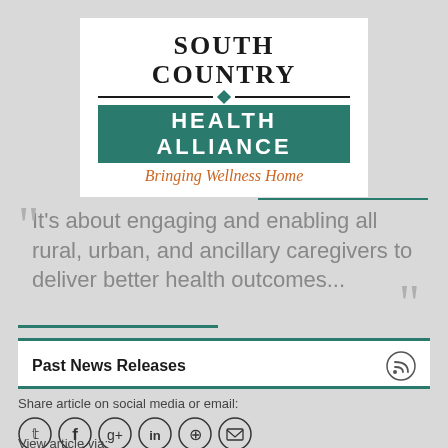[Figure (logo): South Country Health Alliance logo with tagline 'Bringing Wellness Home']
It's about engaging and enabling all rural, urban, and ancillary caregivers to deliver better health outcomes...
Past News Releases
Share article on social media or email:
View article via: